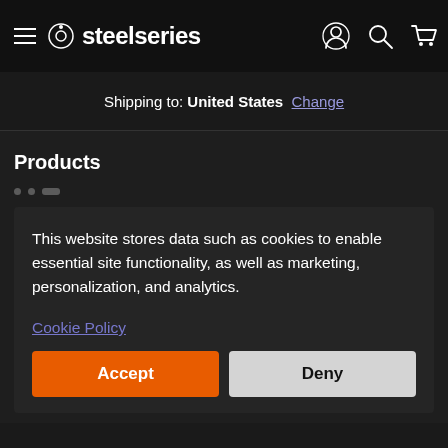[Figure (logo): SteelSeries logo with hamburger menu, brand icon and name, and navigation icons (account, search, cart) on a black navigation bar]
Shipping to: United States  Change
Products
This website stores data such as cookies to enable essential site functionality, as well as marketing, personalization, and analytics.
Cookie Policy
Accept
Deny